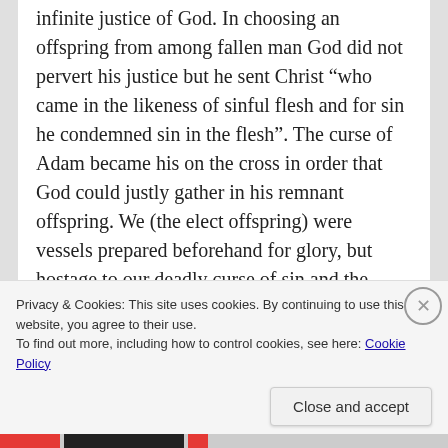infinite justice of God. In choosing an offspring from among fallen man God did not pervert his justice but he sent Christ “who came in the likeness of sinful flesh and for sin he condemned sin in the flesh”. The curse of Adam became his on the cross in order that God could justly gather in his remnant offspring. We (the elect offspring) were vessels prepared beforehand for glory, but hostage to our deadly curse of sin and the wrath that was stored up against us, thus God ransomed us with the blood of Jesus.
In other words election is God’s vehicle to gather in his children from the corners of the earth. Apart
Privacy & Cookies: This site uses cookies. By continuing to use this website, you agree to their use.
To find out more, including how to control cookies, see here: Cookie Policy
Close and accept